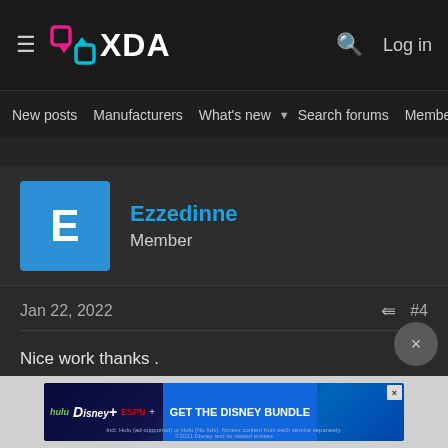XDA | Log in
New posts  Manufacturers  What's new  Search forums  Membe  >
Ezzedinne
Member
Jan 22, 2022  #4
Nice work thanks .
Merci
[Figure (screenshot): Disney Bundle advertisement banner: hulu, Disney+, ESPN+, GET THE DISNEY BUNDLE. Incl. Hulu (ad-supported) or Hulu (No Ads). Access content from each service separately. ©2021 Disney and its related entities]